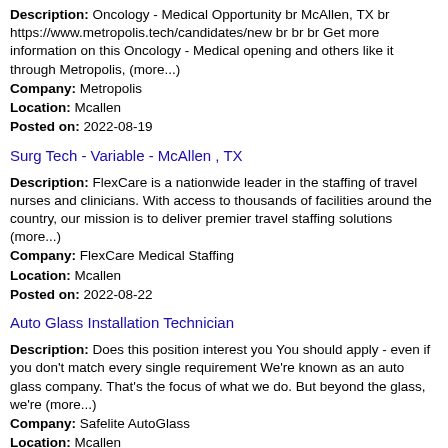Description: Oncology - Medical Opportunity br McAllen, TX br https://www.metropolis.tech/candidates/new br br br Get more information on this Oncology - Medical opening and others like it through Metropolis, (more...)
Company: Metropolis
Location: Mcallen
Posted on: 2022-08-19
Surg Tech - Variable - McAllen , TX
Description: FlexCare is a nationwide leader in the staffing of travel nurses and clinicians. With access to thousands of facilities around the country, our mission is to deliver premier travel staffing solutions (more...)
Company: FlexCare Medical Staffing
Location: Mcallen
Posted on: 2022-08-22
Auto Glass Installation Technician
Description: Does this position interest you You should apply - even if you don't match every single requirement We're known as an auto glass company. That's the focus of what we do. But beyond the glass, we're (more...)
Company: Safelite AutoGlass
Location: Mcallen
Posted on: 2022-08-17
Enterprise Content Creator
Description: Someone who can reliably produce publication